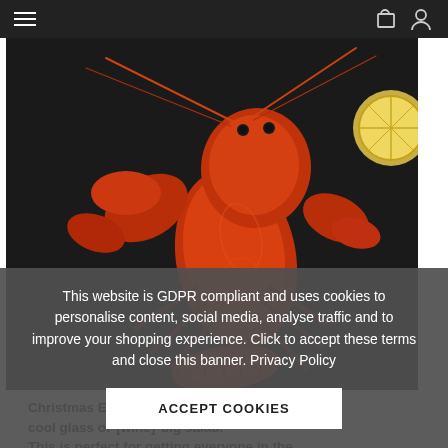Navigation bar with hamburger menu and user/cart icons
[Figure (photo): A bright red cooked lobster on a dark background with a slice of lemon visible on the right side]
This website is GDPR compliant and uses cookies to personalise content, social media, analyse traffic and to improve your shopping experience. Click to accept these terms and close this banner. Privacy Policy
ACCEPT COOKIES
Christmas Eve with some crusty bread, a cool glass of [wine] big salad. This is perfect for getting everyone in the [festive mood...]